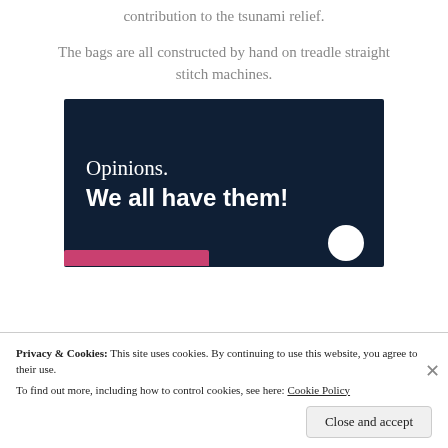contribution to the tsunami relief.
The bags are all constructed by hand on treadle straight stitch machines.
[Figure (infographic): Dark navy advertisement banner with text 'Opinions. We all have them!' and a pink button bar at the bottom with a white circle icon.]
Privacy & Cookies: This site uses cookies. By continuing to use this website, you agree to their use.
To find out more, including how to control cookies, see here: Cookie Policy
Close and accept